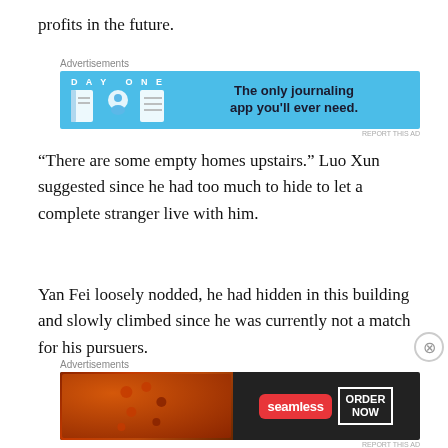profits in the future.
[Figure (other): Day One journaling app advertisement banner — blue background with app icons and text 'The only journaling app you'll ever need.']
“There are some empty homes upstairs.” Luo Xun suggested since he had too much to hide to let a complete stranger live with him.
Yan Fei loosely nodded, he had hidden in this building and slowly climbed since he was currently not a match for his pursuers.
[Figure (other): Seamless food delivery advertisement banner — dark background with pizza image, Seamless logo, and ORDER NOW button.]